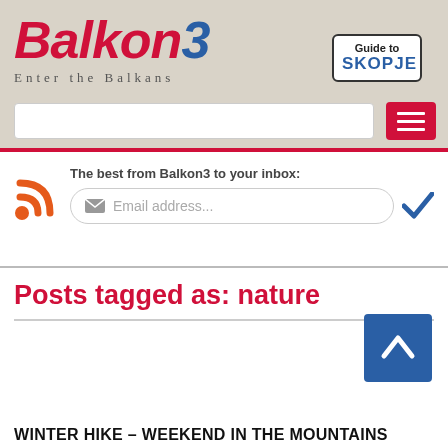[Figure (logo): Balkon3 logo with red italic 'Balkon' and blue italic '3', tagline 'Enter the Balkans' below]
[Figure (screenshot): Guide to SKOPJE button in top right corner]
[Figure (screenshot): Search input bar and red hamburger menu button]
The best from Balkon3 to your inbox:
Email address...
Posts tagged as: nature
WINTER HIKE – WEEKEND IN THE MOUNTAINS